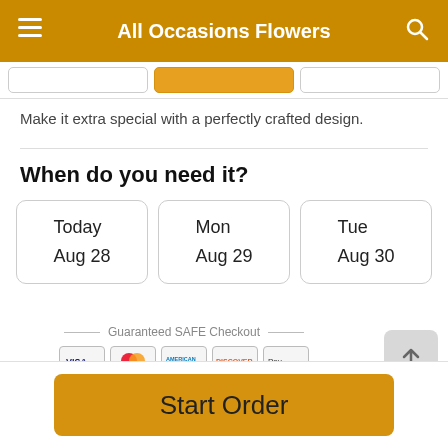All Occasions Flowers
Make it extra special with a perfectly crafted design.
When do you need it?
Today Aug 28
Mon Aug 29
Tue Aug 30
Guaranteed SAFE Checkout
[Figure (other): Payment method icons: VISA, Mastercard, American Express, Discover, Apple Pay]
Start Order